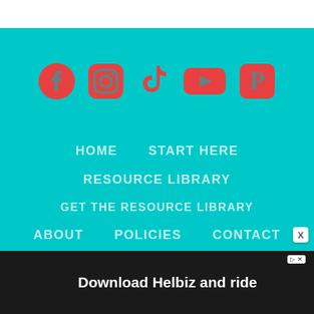[Figure (infographic): Social media icons row: Facebook, Instagram, TikTok, YouTube, Pinterest — all in red/coral on cyan background]
HOME
START HERE
RESOURCE LIBRARY
GET THE RESOURCE LIBRARY
ABOUT
POLICIES
CONTACT
[Figure (screenshot): Advertisement banner: Download Helbiz and ride, showing bicycle handlebar photo]